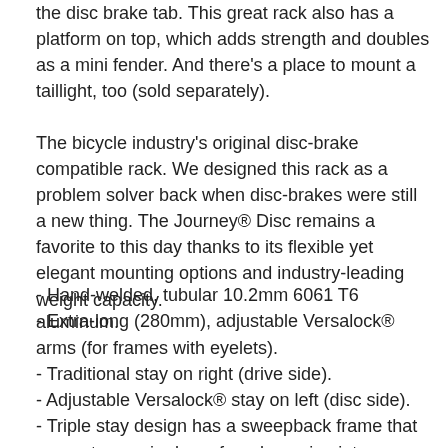the disc brake tab. This great rack also has a platform on top, which adds strength and doubles as a mini fender. And there's a place to mount a taillight, too (sold separately).
The bicycle industry's original disc-brake compatible rack. We designed this rack as a problem solver back when disc-brakes were still a new thing. The Journey® Disc remains a favorite to this day thanks to its flexible yet elegant mounting options and industry-leading weight capacity.
- Hand-welded, tubular 10.2mm 6061 T6 aluminum.
- Extra-long (280mm), adjustable Versalock® arms (for frames with eyelets).
- Traditional stay on right (drive side).
- Adjustable Versalock® stay on left (disc side).
- Triple stay design has a sweepback frame that prevents pannier bags from bouncing into your wheel while you ride.
- Suitable for frames where disc-brake placement causes a